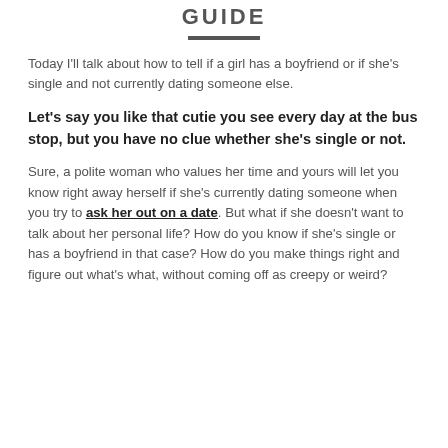GUIDE
Today I'll talk about how to tell if a girl has a boyfriend or if she's single and not currently dating someone else.
Let's say you like that cutie you see every day at the bus stop, but you have no clue whether she's single or not.
Sure, a polite woman who values her time and yours will let you know right away herself if she's currently dating someone when you try to ask her out on a date. But what if she doesn't want to talk about her personal life? How do you know if she's single or has a boyfriend in that case? How do you make things right and figure out what's what, without coming off as creepy or weird?